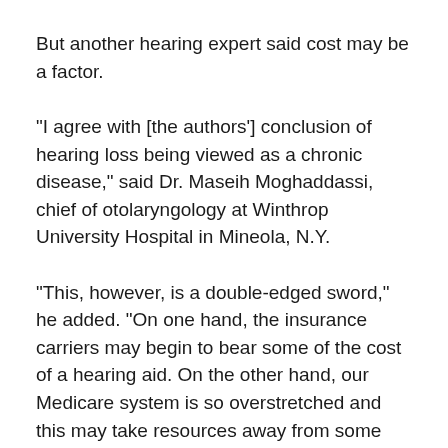But another hearing expert said cost may be a factor.
"I agree with [the authors'] conclusion of hearing loss being viewed as a chronic disease," said Dr. Maseih Moghaddassi, chief of otolaryngology at Winthrop University Hospital in Mineola, N.Y.
"This, however, is a double-edged sword," he added. "On one hand, the insurance carriers may begin to bear some of the cost of a hearing aid. On the other hand, our Medicare system is so overstretched and this may take resources away from some other lifesaving procedures such as dialysis